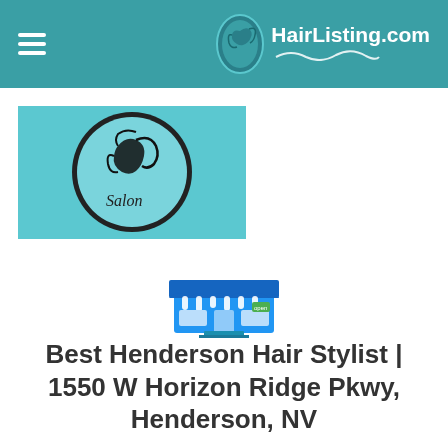HairListing.com
[Figure (logo): Salon logo with woman's face illustration on teal background, with text 'Salon']
[Figure (illustration): Store/website icon showing a blue awning storefront with white hanging decorations]
Best Henderson Hair Stylist | 1550 W Horizon Ridge Pkwy, Henderson, NV